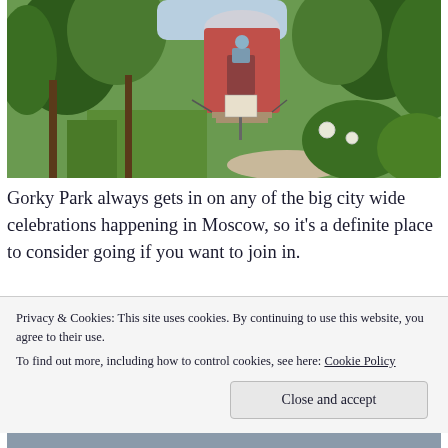[Figure (photo): Gorky Park outdoor scene with a red and white round building, lush green trees, tall grasses, and a garden pathway.]
Gorky Park always gets in on any of the big city wide celebrations happening in Moscow, so it's a definite place to consider going if you want to join in.
[Figure (photo): Partial view of people at what appears to be an outdoor event or gathering in a park setting.]
Privacy & Cookies: This site uses cookies. By continuing to use this website, you agree to their use.
To find out more, including how to control cookies, see here: Cookie Policy
Close and accept